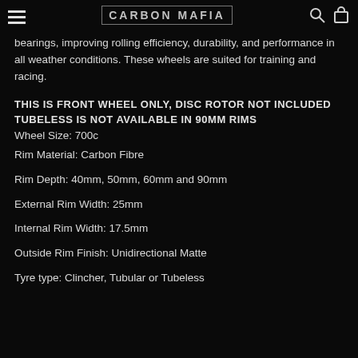CARBON MAFIA
bearings, improving rolling efficiency, durability, and performance in all weather conditions. These wheels are suited for training and racing.
THIS IS FRONT WHEEL ONLY, DISC ROTOR NOT INCLUDED
TUBELESS IS NOT AVAILABLE IN 90MM RIMS
Wheel Size: 700c
Rim Material: Carbon Fibre
Rim Depth: 40mm, 50mm, 60mm and 90mm
External Rim Width: 25mm
Internal Rim Width: 17.5mm
Outside Rim Finish: Unidirectional Matte
Tyre type: Clincher, Tubular or Tubeless